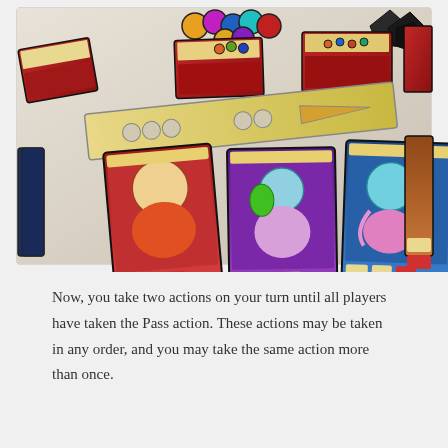[Figure (photo): Overhead photo of a board game showing character cards with fantasy artwork in colorful backgrounds (red, purple, blue, orange), a board strip with tokens and arrows, stacks of circular tokens at the top, and decorative game pieces arranged on a light surface.]
Now, you take two actions on your turn until all players have taken the Pass action. These actions may be taken in any order, and you may take the same action more than once.